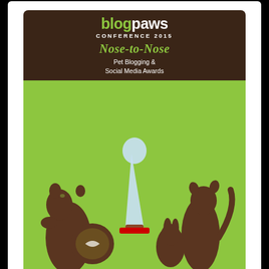[Figure (illustration): BlogPaws Conference 2015 Nose-to-Nose Pet Blogging & Social Media Awards — Best Cat Blog Finalist badge. Dark brown header with 'blogpaws' logo in green and white, green italic 'Nose-to-Nose' script, subtitle 'Pet Blogging & Social Media Awards'. Green center section with chocolate-brown silhouette animals (dog, cat, rabbit, fish bowl) and a crystal award trophy. Dark brown footer with 'BEST CAT BLOG' in white and 'FINALIST' in large green letters.]
Our Angel Island Cats
[Figure (photo): A fluffy long-haired tabby cat with green eyes photographed against a light blue background. The cat has brown and black striped fur and a white chin/chest area. Another cat silhouette is barely visible in the lower background.]